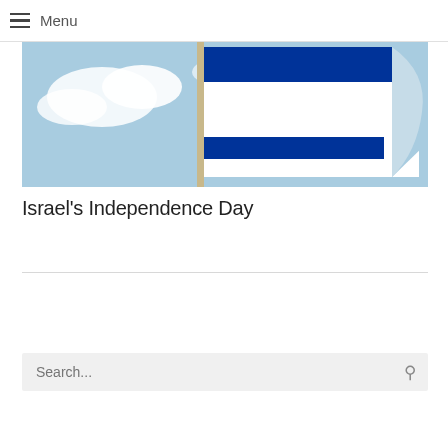Menu
[Figure (photo): Israeli flag with blue stripes waving on a flagpole against a partly cloudy blue sky]
Israel's Independence Day
Search...